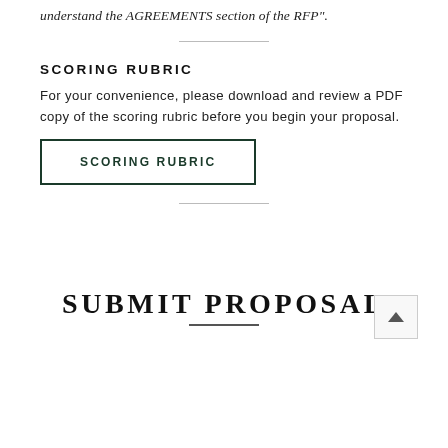understand the AGREEMENTS section of the RFP".
SCORING RUBRIC
For your convenience, please download and review a PDF copy of the scoring rubric before you begin your proposal.
[Figure (other): Button labeled SCORING RUBRIC with dark green border]
SUBMIT PROPOSAL